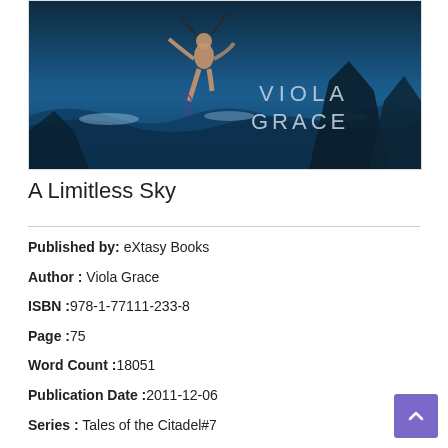[Figure (illustration): Book cover for 'A Limitless Sky' by Viola Grace. Blue-toned fantasy/sci-fi cover featuring a woman with tattoos leaping or floating against a dramatic ocean and rock background, with the author name 'VIOLA GRACE' displayed in large text on the right side of the cover.]
A Limitless Sky
Published by: eXtasy Books
Author : Viola Grace
ISBN :978-1-77111-233-8
Page :75
Word Count :18051
Publication Date :2011-12-06
Series : Tales of the Citadel#7